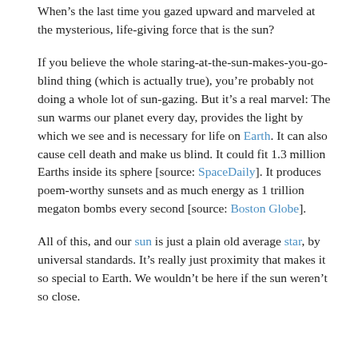The natural light makes the grade.
When’s the last time you gazed upward and marveled at the mysterious, life-giving force that is the sun?
If you believe the whole staring-at-the-sun-makes-you-go-blind thing (which is actually true), you’re probably not doing a whole lot of sun-gazing. But it’s a real marvel: The sun warms our planet every day, provides the light by which we see and is necessary for life on Earth. It can also cause cell death and make us blind. It could fit 1.3 million Earths inside its sphere [source: SpaceDaily]. It produces poem-worthy sunsets and as much energy as 1 trillion megaton bombs every second [source: Boston Globe].
All of this, and our sun is just a plain old average star, by universal standards. It’s really just proximity that makes it so special to Earth. We wouldn’t be here if the sun weren’t so close.